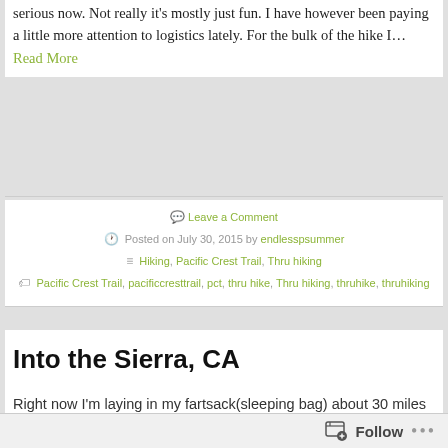serious now. Not really it's mostly just fun. I have however been paying a little more attention to logistics lately. For the bulk of the hike I… Read More
Leave a Comment
Posted on July 30, 2015 by endlesspsummer
Hiking, Pacific Crest Trail, Thru hiking
Pacific Crest Trail, pacificcresttrail, pct, thru hike, Thru hiking, thruhike, thruhiking
Into the Sierra, CA
Right now I'm laying in my fartsack(sleeping bag) about 30 miles past Kennedy Meadows at a really cool sandy campsite in Death Creek Canyon. I took a day off in KM yesterday and I had planned on updating… Read More